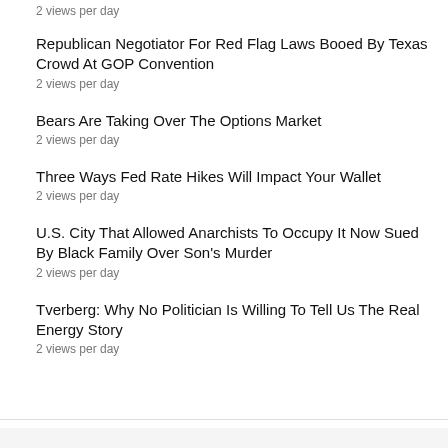2 views per day
Republican Negotiator For Red Flag Laws Booed By Texas Crowd At GOP Convention
2 views per day
Bears Are Taking Over The Options Market
2 views per day
Three Ways Fed Rate Hikes Will Impact Your Wallet
2 views per day
U.S. City That Allowed Anarchists To Occupy It Now Sued By Black Family Over Son's Murder
2 views per day
Tverberg: Why No Politician Is Willing To Tell Us The Real Energy Story
2 views per day